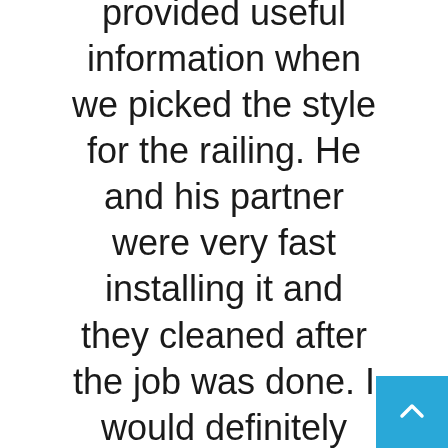provided useful information when we picked the style for the railing. He and his partner were very fast installing it and they cleaned after the job was done. I would definitely recommend him.
[Figure (other): Blue square scroll-to-top button with upward-pointing chevron arrow in bottom-right corner]